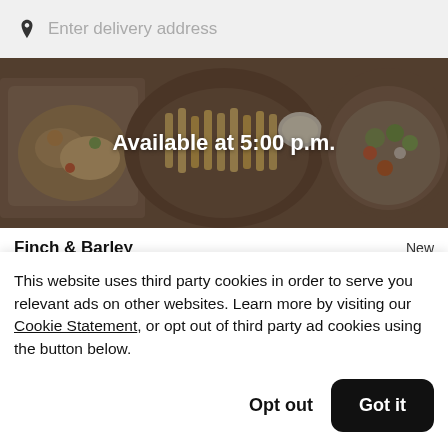Enter delivery address
[Figure (photo): Overhead photo of restaurant food dishes — tacos/nachos on a square plate on the left, a bowl of fries in the center, and a salad/grain bowl on the right, all on a dark wooden table. Dark overlay with 'Available at 5:00 p.m.' text centered.]
Finch & Barley
New
This website uses third party cookies in order to serve you relevant ads on other websites. Learn more by visiting our Cookie Statement, or opt out of third party ad cookies using the button below.
Opt out
Got it